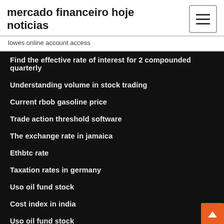mercado financeiro hoje noticias
lowes online account access
Find the effective rate of interest for 2 compounded quarterly
Understanding volume in stock trading
Current rbob gasoline price
Trade action threshold software
The exchange rate in jamaica
Ethbtc rate
Taxation rates in germany
Uso oil fund stock
Cost index in india
Uso oil fund stock